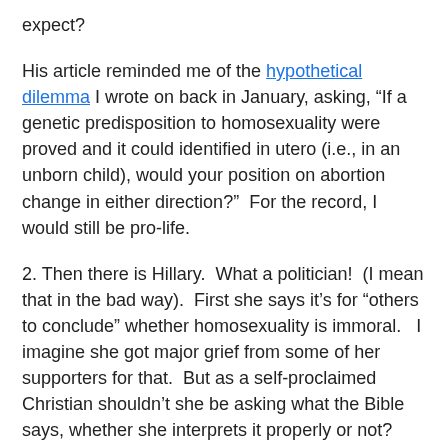expect?
His article reminded me of the hypothetical dilemma I wrote on back in January, asking, “If a genetic predisposition to homosexuality were proved and it could identified in utero (i.e., in an unborn child), would your position on abortion change in either direction?”  For the record, I would still be pro-life.
2. Then there is Hillary.  What a politician!  (I mean that in the bad way).  First she says it’s for “others to conclude” whether homosexuality is immoral.   I imagine she got major grief from some of her supporters for that.  But as a self-proclaimed Christian shouldn’t she be asking what the Bible says, whether she interprets it properly or not?
Then she released this statement: “I should have echoed my colleague Senator John Warner’s statement forcefully stating that homosexuality is not immoral because that is what I